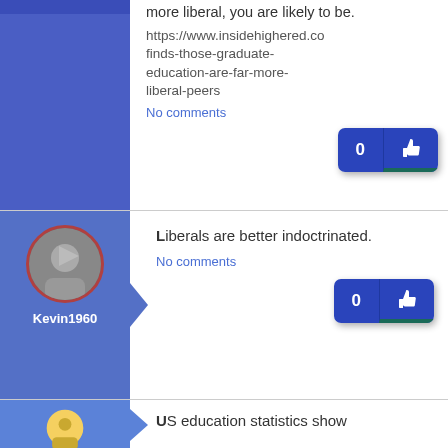more liberal, you are likely to be. https://www.insidehighered.co finds-those-graduate-education-are-far-more-liberal-peers
No comments
Liberals are better indoctrinated.
No comments
Kevin1960
US education statistics show